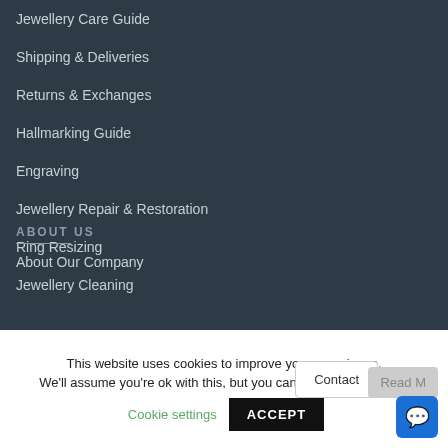Jewellery Care Guide
Shipping & Deliveries
Returns & Exchanges
Hallmarking Guide
Engraving
Jewellery Repair & Restoration
Ring Resizing
Jewellery Cleaning
ABOUT US
About Our Company
This website uses cookies to improve your experience. We'll assume you're ok with this, but you can opt-out if you wish.
Cookie settings
ACCEPT
Contact
Read M